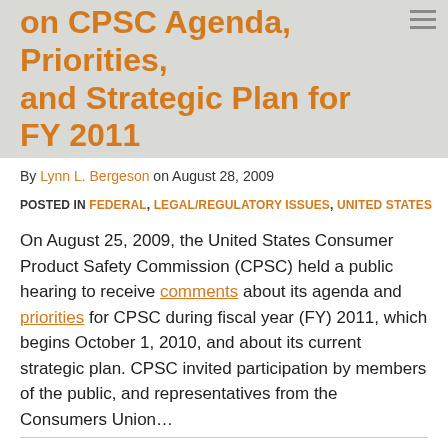on CPSC Agenda, Priorities, and Strategic Plan for FY 2011
By Lynn L. Bergeson on August 28, 2009
POSTED IN FEDERAL, LEGAL/REGULATORY ISSUES, UNITED STATES
On August 25, 2009, the United States Consumer Product Safety Commission (CPSC) held a public hearing to receive comments about its agenda and priorities for CPSC during fiscal year (FY) 2011, which begins October 1, 2010, and about its current strategic plan. CPSC invited participation by members of the public, and representatives from the Consumers Union...